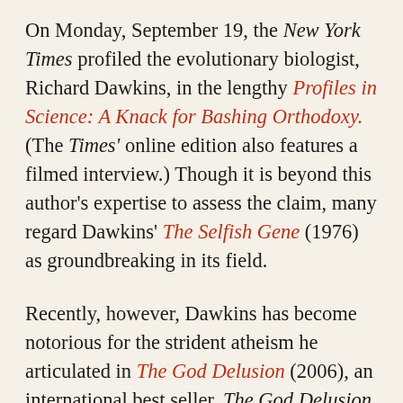On Monday, September 19, the New York Times profiled the evolutionary biologist, Richard Dawkins, in the lengthy Profiles in Science: A Knack for Bashing Orthodoxy. (The Times' online edition also features a filmed interview.) Though it is beyond this author's expertise to assess the claim, many regard Dawkins' The Selfish Gene (1976) as groundbreaking in its field.
Recently, however, Dawkins has become notorious for the strident atheism he articulated in The God Delusion (2006), an international best seller. The God Delusion argues that religious faith is not only irrational but socially dangerous. The NYT profile